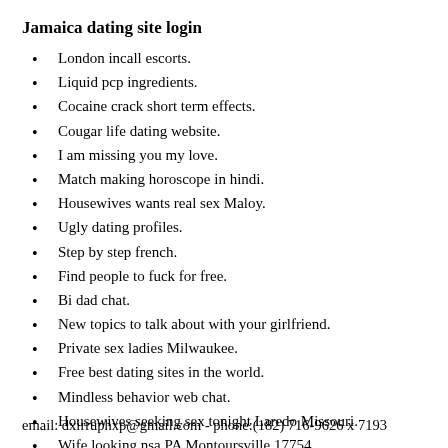Jamaica dating site login
London incall escorts.
Liquid pcp ingredients.
Cocaine crack short term effects.
Cougar life dating website.
I am missing you my love.
Match making horoscope in hindi.
Housewives wants real sex Maloy.
Ugly dating profiles.
Step by step french.
Find people to fuck for free.
Bi dad chat.
New topics to talk about with your girlfriend.
Private sex ladies Milwaukee.
Free best dating sites in the world.
Mindless behavior web chat.
Housewives seeking sex tonight Laredo Missouri.
Wife looking nsa PA Montoursville 17754.
Housewives looking casual sex Harmony Pennsylvania 16037.
El paso concert tickets.
email: dxirruphxp@gmail.com - phone:(182) 716-9626 x 7193